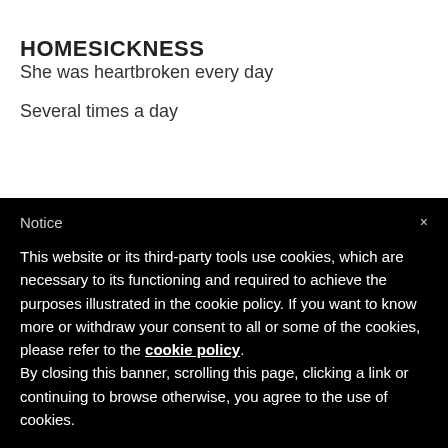HOMESICKNESS
She was heartbroken every day
Several times a day
Notice
This website or its third-party tools use cookies, which are necessary to its functioning and required to achieve the purposes illustrated in the cookie policy. If you want to know more or withdraw your consent to all or some of the cookies, please refer to the cookie policy. By closing this banner, scrolling this page, clicking a link or continuing to browse otherwise, you agree to the use of cookies.